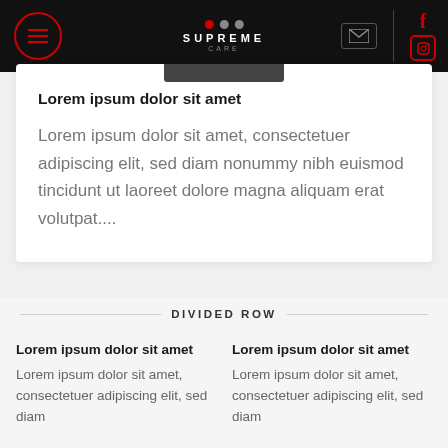Supreme Care navigation header with logo, menu icon, mail icon, and social icons
Lorem ipsum dolor sit amet
Lorem ipsum dolor sit amet, consectetuer adipiscing elit, sed diam nonummy nibh euismod tincidunt ut laoreet dolore magna aliquam erat volutpat....
DIVIDED ROW
Lorem ipsum dolor sit amet
Lorem ipsum dolor sit amet, consectetuer adipiscing elit, sed diam
Lorem ipsum dolor sit amet
Lorem ipsum dolor sit amet, consectetuer adipiscing elit, sed diam